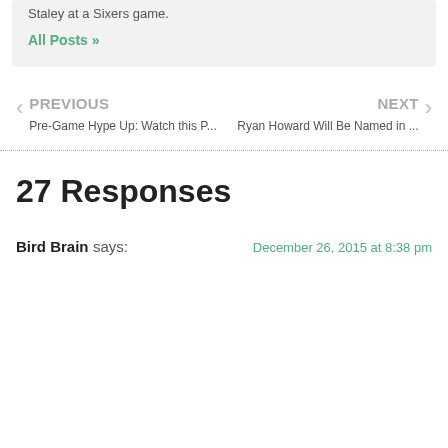Staley at a Sixers game.
All Posts »
PREVIOUS
Pre-Game Hype Up: Watch this P...
NEXT
Ryan Howard Will Be Named in ...
27 Responses
Bird Brain says:
December 26, 2015 at 8:38 pm